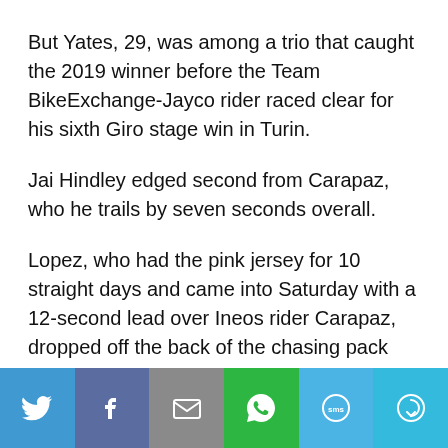But Yates, 29, was among a trio that caught the 2019 winner before the Team BikeExchange-Jayco rider raced clear for his sixth Giro stage win in Turin.
Jai Hindley edged second from Carapaz, who he trails by seven seconds overall.
Lopez, who had the pink jersey for 10 straight days and came into Saturday with a 12-second lead over Ineos rider Carapaz, dropped off the back of the chasing pack after the Ecuadorian's break and is now more than four minutes off the lead.
Yates' hopes of being in contention for the general
[Figure (infographic): Social sharing bar with six buttons: Twitter (blue bird icon), Facebook (dark blue f icon), Email (grey envelope icon), WhatsApp (green phone icon), SMS (light blue sms icon), More (teal circular arrow icon)]